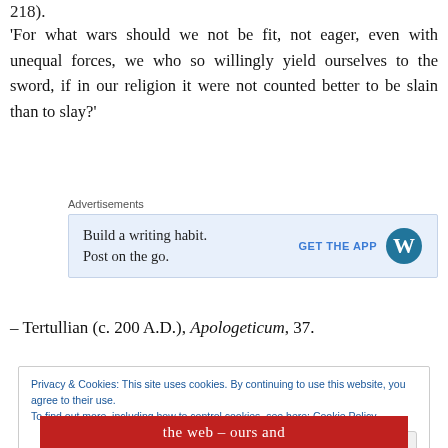218).
‘For what wars should we not be fit, not eager, even with unequal forces, we who so willingly yield ourselves to the sword, if in our religion it were not counted better to be slain than to slay?’
[Figure (other): Advertisement box: 'Build a writing habit. Post on the go.' with 'GET THE APP' link and WordPress logo]
– Tertullian (c. 200 A.D.), Apologeticum, 37.
Privacy & Cookies: This site uses cookies. By continuing to use this website, you agree to their use.
To find out more, including how to control cookies, see here: Cookie Policy
Close and accept
the web – ours and